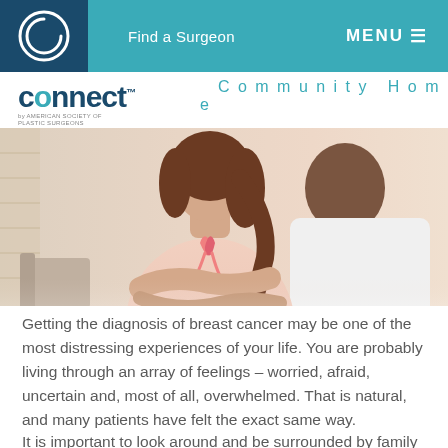Find a Surgeon   MENU
[Figure (logo): Connect by American Society of Plastic Surgeons logo with teal circle letter o]
Community Home
[Figure (photo): Woman in pink blouse wearing a pink breast cancer awareness ribbon sitting across from a doctor in a white coat]
Getting the diagnosis of breast cancer may be one of the most distressing experiences of your life. You are probably living through an array of feelings – worried, afraid, uncertain and, most of all, overwhelmed. That is natural, and many patients have felt the exact same way.
It is important to look around and be surrounded by family